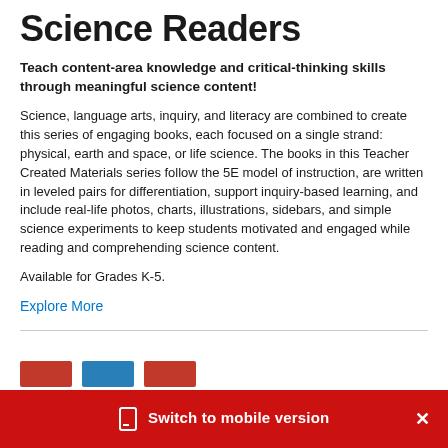Science Readers
Teach content-area knowledge and critical-thinking skills through meaningful science content!
Science, language arts, inquiry, and literacy are combined to create this series of engaging books, each focused on a single strand: physical, earth and space, or life science. The books in this Teacher Created Materials series follow the 5E model of instruction, are written in leveled pairs for differentiation, support inquiry-based learning, and include real-life photos, charts, illustrations, sidebars, and simple science experiments to keep students motivated and engaged while reading and comprehending science content.
Available for Grades K-5.
Explore More
Switch to mobile version